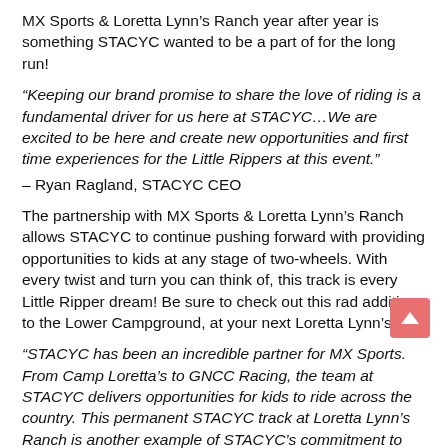MX Sports & Loretta Lynn’s Ranch year after year is something STACYC wanted to be a part of for the long run!
“Keeping our brand promise to share the love of riding is a fundamental driver for us here at STACYC…We are excited to be here and create new opportunities and first time experiences for the Little Rippers at this event.”
– Ryan Ragland, STACYC CEO
The partnership with MX Sports & Loretta Lynn’s Ranch allows STACYC to continue pushing forward with providing opportunities to kids at any stage of two-wheels. With every twist and turn you can think of, this track is every Little Ripper dream! Be sure to check out this rad addition to the Lower Campground, at your next Loretta Lynn’s trip!
“STACYC has been an incredible partner for MX Sports. From Camp Loretta’s to GNCC Racing, the team at STACYC delivers opportunities for kids to ride across the country. This permanent STACYC track at Loretta Lynn’s Ranch is another example of STACYC’s commitment to the Little Rippers.”